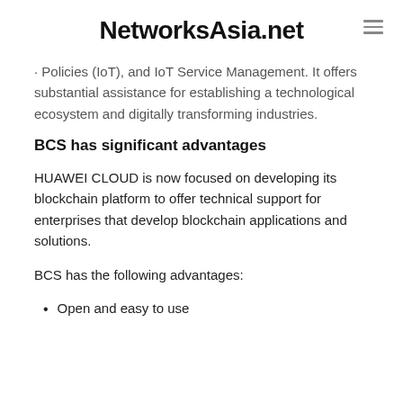NetworksAsia.net
... Policies (IoT), and IoT Service Management. It offers substantial assistance for establishing a technological ecosystem and digitally transforming industries.
BCS has significant advantages
HUAWEI CLOUD is now focused on developing its blockchain platform to offer technical support for enterprises that develop blockchain applications and solutions.
BCS has the following advantages:
Open and easy to use